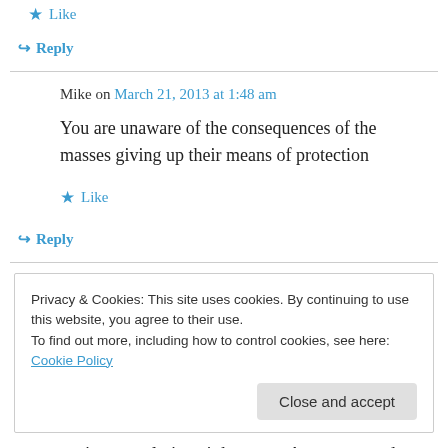★ Like
↪ Reply
Mike on March 21, 2013 at 1:48 am
You are unaware of the consequences of the masses giving up their means of protection
★ Like
↪ Reply
Privacy & Cookies: This site uses cookies. By continuing to use this website, you agree to their use.
To find out more, including how to control cookies, see here: Cookie Policy
Close and accept
owning population right away. A gun crossed